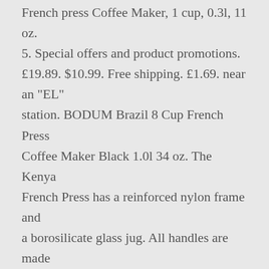French press Coffee Maker, 1 cup, 0.3l, 11 oz. 5. Special offers and product promotions. £19.89. $10.99. Free shipping. £1.69. near an "EL" station. BODUM Brazil 8 Cup French Press Coffee Maker Black 1.0l 34 oz. The Kenya French Press has a reinforced nylon frame and a borosilicate glass jug. All handles are made from polypropylene. Place pot on a dry, flat, non-slip surface. Bodum's French press brewing system is legendary amongst coffee connoisseurs for its delicious full-bodied flavour and rich aroma. Chambord, Java, Caffettiera, Brazil, Kenya. 1 offer from $39.51. Carrot - Early Nantes 2 - 1000 seeds 4.3 out of 5 stars 161. As with other French presses, beware of the fragile glass beaker when using